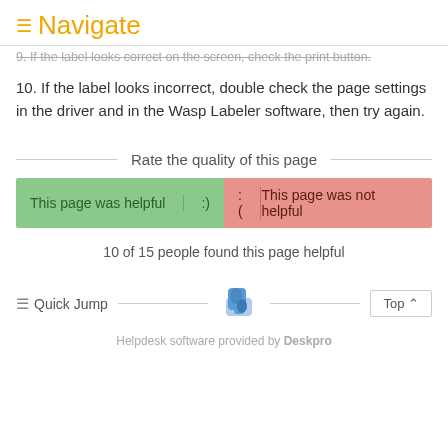≡ Navigate
9. If the label looks correct on the screen, check the print button.
10. If the label looks incorrect, double check the page settings in the driver and in the Wasp Labeler software, then try again.
Rate the quality of this page
[Figure (other): Two feedback buttons: green 'This page was helpful :)' and red ':( This page was not helpful']
10 of 15 people found this page helpful
≡ Quick Jump    Top ↑
Helpdesk software provided by Deskpro